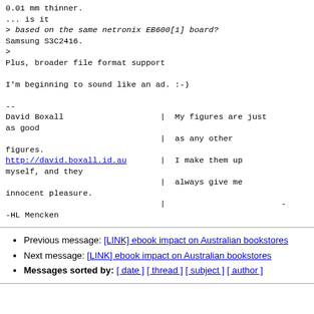0.01 mm thinner.
... is it
> based on the same netronix EB600[1] board?
Samsung S3C2416.
>
Plus, broader file format support

I'm beginning to sound like an ad. :-)

--
David Boxall                    |  My figures are just as good
                                |  as any other figures.
http://david.boxall.id.au       |  I make them up myself, and they
                                |  always give me innocent pleasure.
                                |                         -
-HL Mencken
Previous message: [LINK] ebook impact on Australian bookstores
Next message: [LINK] ebook impact on Australian bookstores
Messages sorted by: [ date ] [ thread ] [ subject ] [ author ]